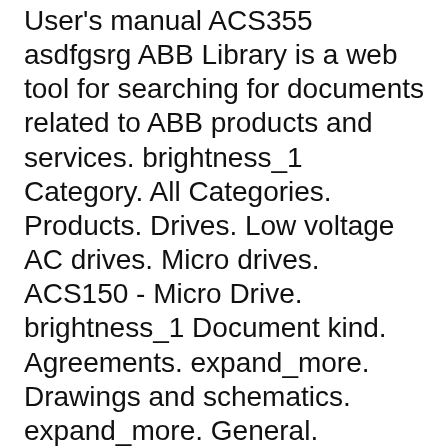User's manual ACS355 asdfgsrg ABB Library is a web tool for searching for documents related to ABB products and services. brightness_1 Category. All Categories. Products. Drives. Low voltage AC drives. Micro drives. ACS150 - Micro Drive. brightness_1 Document kind. Agreements. expand_more. Drawings and schematics. expand_more. General. expand_more. Guidelines and processes. expand_more. Instructions and manualsвЂ¦
Drives Empower your business with profitable efficiency You base your business on cost efficiency and performance. You know that everything